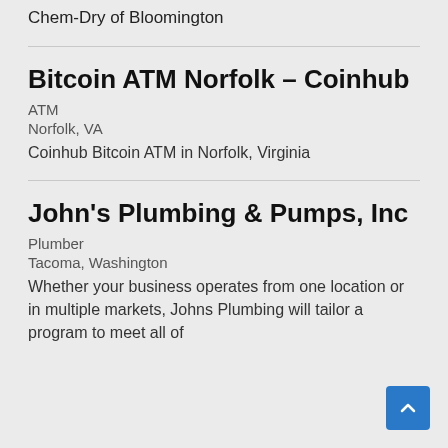Chem-Dry of Bloomington
Bitcoin ATM Norfolk – Coinhub
ATM
Norfolk, VA
Coinhub Bitcoin ATM in Norfolk, Virginia
John's Plumbing & Pumps, Inc
Plumber
Tacoma, Washington
Whether your business operates from one location or in multiple markets, Johns Plumbing will tailor a program to meet all of